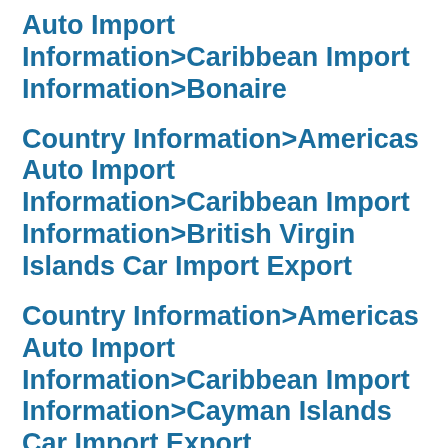Auto Import Information>Caribbean Import Information>Bonaire
Country Information>Americas Auto Import Information>Caribbean Import Information>British Virgin Islands Car Import Export
Country Information>Americas Auto Import Information>Caribbean Import Information>Cayman Islands Car Import Export
Country Information>Americas